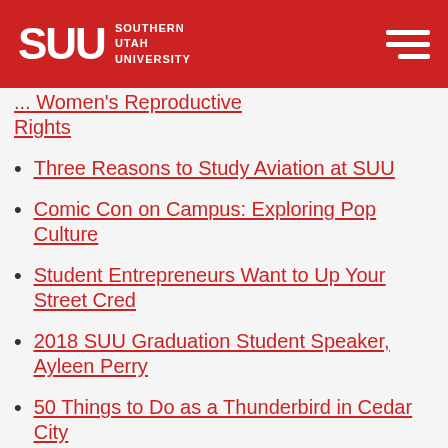SUU Southern Utah University
... Women's Reproductive Rights
Three Reasons to Study Aviation at SUU
Comic Con on Campus: Exploring Pop Culture
Student Entrepreneurs Want to Up Your Street Cred
2018 SUU Graduation Student Speaker, Ayleen Perry
50 Things to Do as a Thunderbird in Cedar City
How to Decorate Your Graduation Cap: Tips, Tricks & Ideas